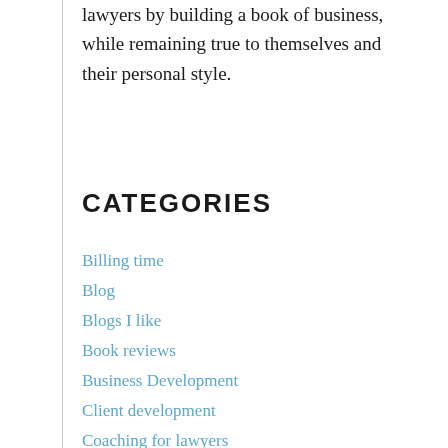lawyers by building a book of business, while remaining true to themselves and their personal style.
CATEGORIES
Billing time
Blog
Blogs I like
Book reviews
Business Development
Client development
Coaching for lawyers
Coaching for lawyers
Coaching in general